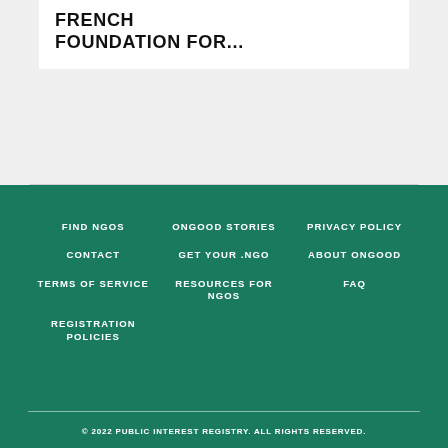FRENCH FOUNDATION FOR...
FIND NGOS | ONGOOD STORIES | PRIVACY POLICY | CONTACT | GET YOUR .NGO | ABOUT ONGOOD | TERMS OF SERVICE | RESOURCES FOR NGOS | FAQ | REGISTRATION POLICIES
© 2022 PUBLIC INTEREST REGISTRY. ALL RIGHTS RESERVED.